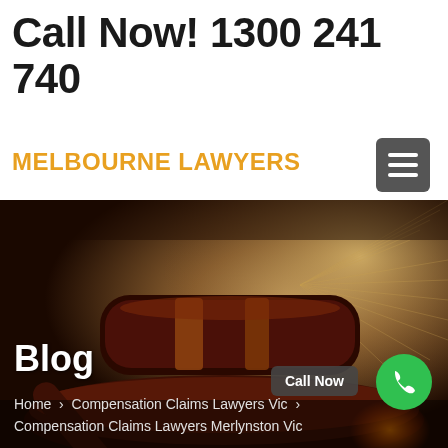Call Now! 1300 241 740
MELBOURNE LAWYERS
[Figure (photo): Close-up photo of a wooden judge's gavel resting on a sound block, with an open law book with radial light rays in the background, warm amber tones]
Blog
Home > Compensation Claims Lawyers Vic > Compensation Claims Lawyers Merlynston Vic
Call Now